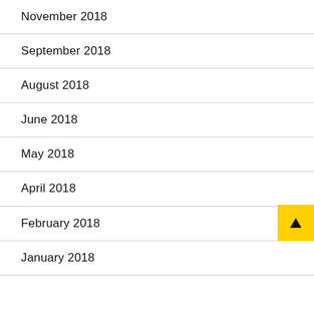November 2018
September 2018
August 2018
June 2018
May 2018
April 2018
February 2018
January 2018